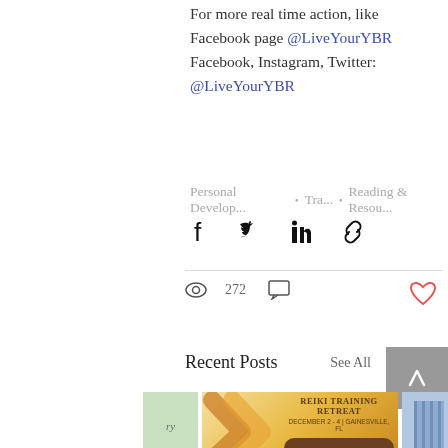For more real time action, like Facebook page @LiveYourYBR
Facebook, Instagram, Twitter:
@LiveYourYBR
Personal Develop... • Tra... • Reading & Resou...
[Figure (infographic): Social share icons: Facebook, Twitter, LinkedIn, link copy]
272
[Figure (infographic): Heart/like button (red outline)]
Recent Posts
See All
[Figure (photo): Three thumbnail images for recent posts including a Reiki Training Retreat promo card and partial photos]